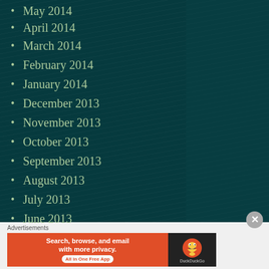May 2014
April 2014
March 2014
February 2014
January 2014
December 2013
November 2013
October 2013
September 2013
August 2013
July 2013
June 2013
[Figure (screenshot): DuckDuckGo advertisement banner: 'Search, browse, and email with more privacy. All in One Free App' with DuckDuckGo logo on dark background]